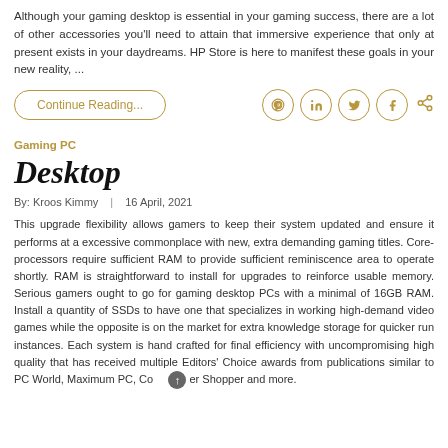Although your gaming desktop is essential in your gaming success, there are a lot of other accessories you'll need to attain that immersive experience that only at present exists in your daydreams. HP Store is here to manifest these goals in your new reality, ...
Continue Reading...
[Figure (infographic): Social share icons: Pinterest, LinkedIn, Twitter, Facebook, and a generic share icon, all in gold/tan color with circular borders]
Gaming PC
Desktop
By: Kroos Kimmy   |   16 April, 2021
This upgrade flexibility allows gamers to keep their system updated and ensure it performs at a excessive commonplace with new, extra demanding gaming titles. Core-processors require sufficient RAM to provide sufficient reminiscence area to operate shortly. RAM is straightforward to install for upgrades to reinforce usable memory. Serious gamers ought to go for gaming desktop PCs with a minimal of 16GB RAM. Install a quantity of SSDs to have one that specializes in working high-demand video games while the opposite is on the market for extra knowledge storage for quicker run instances. Each system is hand crafted for final efficiency with uncompromising high quality that has received multiple Editors' Choice awards from publications similar to PC World, Maximum PC, Computer Shopper and more.